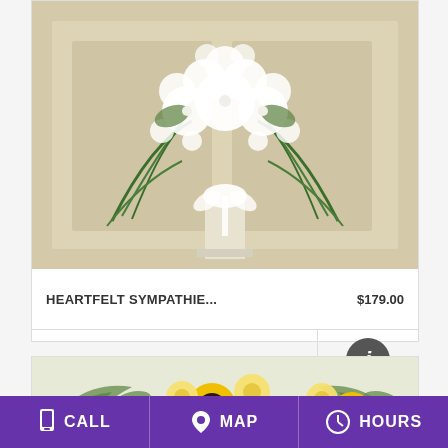[Figure (photo): White floral sympathy standing spray arrangement with white flowers, green palm fronds, and white ribbon bow on a pedestal]
HEARTFELT SYMPATHIE...    $179.00
BUY NOW
[Figure (photo): Sunflower and yellow rose sympathy wreath/standing spray on an easel with green foliage]
CALL    MAP    HOURS